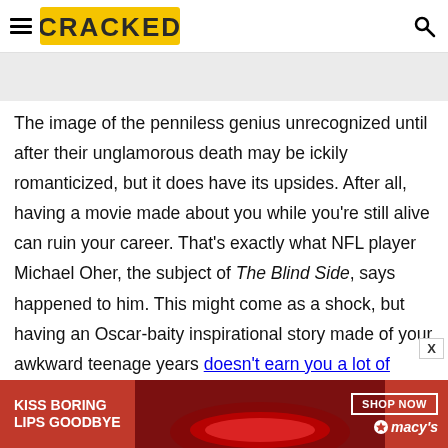CRACKED
[Figure (other): Gray banner image placeholder area]
The image of the penniless genius unrecognized until after their unglamorous death may be ickily romanticized, but it does have its upsides. After all, having a movie made about you while you're still alive can ruin your career. That's exactly what NFL player Michael Oher, the subject of The Blind Side, says happened to him. This might come as a shock, but having an Oscar-baity inspirational story made of your awkward teenage years doesn't earn you a lot of
[Figure (other): Macy's advertisement banner: KISS BORING LIPS GOODBYE with SHOP NOW button and Macy's logo]